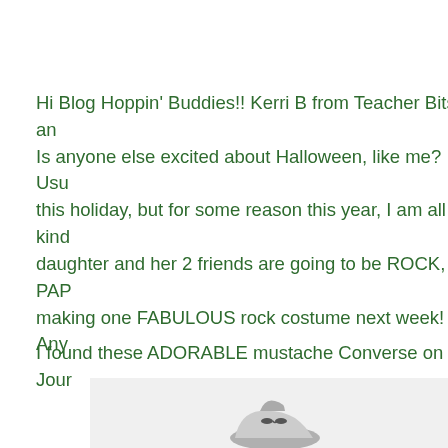Hi Blog Hoppin' Buddies!! Kerri B from Teacher Bits an Is anyone else excited about Halloween, like me? Usu this holiday, but for some reason this year, I am all kind daughter and her 2 friends are going to be ROCK, PAP making one FABULOUS rock costume next week! Any
I found these ADORABLE mustache Converse on Jour
[Figure (photo): Partial photo showing what appears to be a shoe or sneaker at the bottom of the page, with a grey/light background]